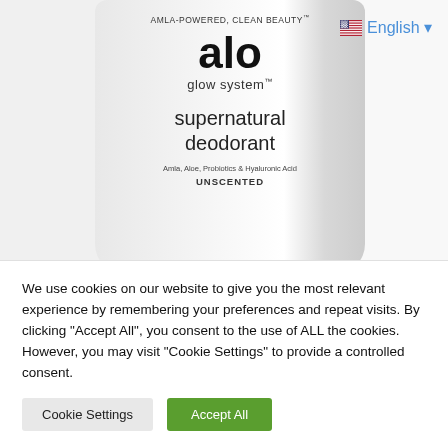[Figure (photo): Product photo of 'alo glow system supernatural deodorant' in white cylindrical stick packaging. Text on bottle: 'AMLA-POWERED, CLEAN BEAUTY', 'alo', 'glow system', 'supernatural deodorant', 'Amla, Aloe, Probiotics & Hyaluronic Acid', 'UNSCENTED'. A US flag icon and 'English ▼' language selector appears in the top right corner.]
We use cookies on our website to give you the most relevant experience by remembering your preferences and repeat visits. By clicking "Accept All", you consent to the use of ALL the cookies. However, you may visit "Cookie Settings" to provide a controlled consent.